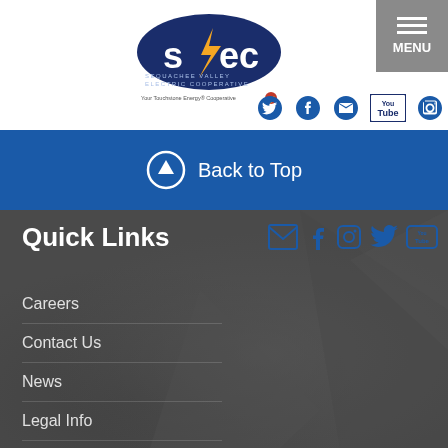[Figure (logo): SVEC - Sequachee Valley Electric Cooperative logo with tagline 'Your Touchstone Energy Cooperative']
[Figure (infographic): Menu button with three horizontal bars and MENU text on grey background]
[Figure (infographic): Social media icons row: Twitter, Facebook, Email, YouTube, Instagram]
Back to Top
Quick Links
[Figure (infographic): Social media icons in footer: Email, Facebook, Instagram, Twitter, YouTube]
Careers
Contact Us
News
Legal Info